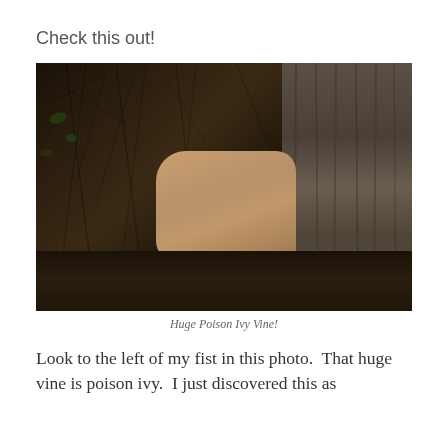Check this out!
[Figure (photo): Close-up photo of a person's fist gripping a large hairy poison ivy vine climbing up a tree trunk. The vine is covered in fine root hairs. The setting is a forest floor with leaves and debris visible in the background.]
Huge Poison Ivy Vine!
Look to the left of my fist in this photo.  That huge vine is poison ivy.  I just discovered this as